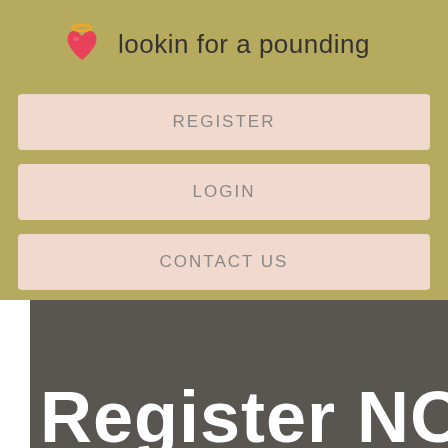lookin for a pounding
REGISTER
LOGIN
CONTACT US
Register NOW